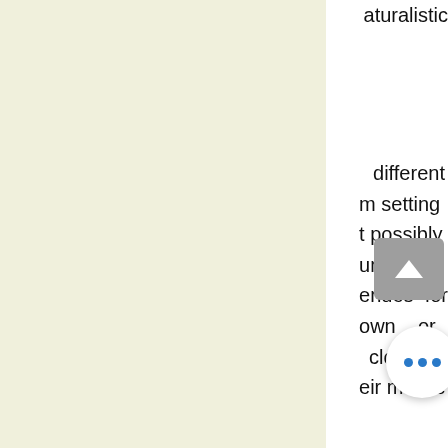aturalistic
different m setting t possibly unity cost enues for own or closest eir mobile
nteractive nong the ticipation. ith i s abi and the